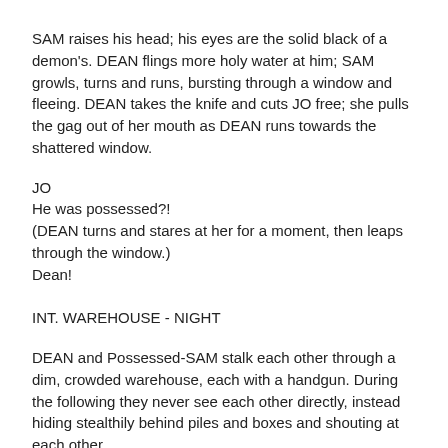SAM raises his head; his eyes are the solid black of a demon's. DEAN flings more holy water at him; SAM growls, turns and runs, bursting through a window and fleeing. DEAN takes the knife and cuts JO free; she pulls the gag out of her mouth as DEAN runs towards the shattered window.
JO
He was possessed?!
(DEAN turns and stares at her for a moment, then leaps through the window.)
Dean!
INT. WAREHOUSE - NIGHT
DEAN and Possessed-SAM stalk each other through a dim, crowded warehouse, each with a handgun. During the following they never see each other directly, instead hiding stealthily behind piles and boxes and shouting at each other.